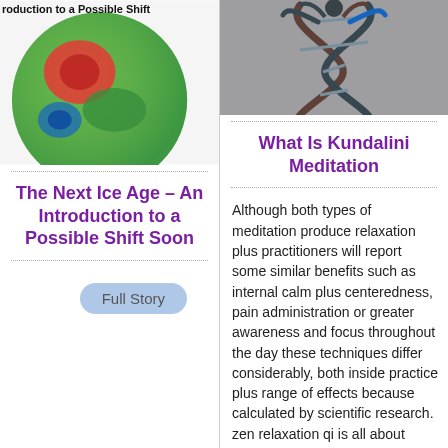[Figure (photo): Partial view of a colorful globe/earth weather map image — green, red, blue tones — with text 'roduction to a Possible Shift' overlaid at top.]
The Next Ice Age – An Introduction to a Possible Shift Soon
Full Story
[Figure (photo): Artistic image of a DNA double helix with human figures intertwined, reflective surface, dark background.]
What Is Kundalini Meditation
Although both types of meditation produce relaxation plus practitioners will report some similar benefits such as internal calm plus centeredness, pain administration or greater awareness and focus throughout the day these techniques differ considerably, both inside practice plus range of effects because calculated by scientific research. zen relaxation qi is all about